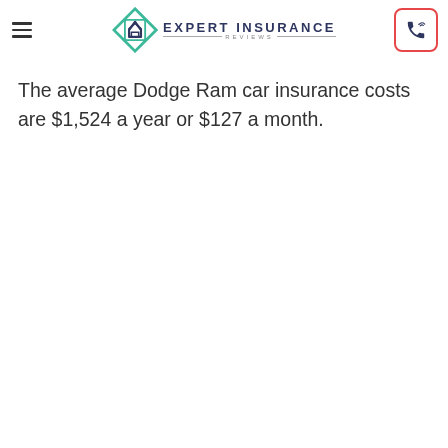Expert Insurance Reviews
The average Dodge Ram car insurance costs are $1,524 a year or $127 a month.